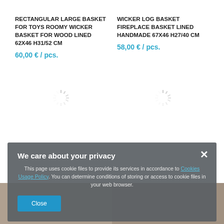RECTANGULAR LARGE BASKET FOR TOYS ROOMY WICKER BASKET FOR WOOD LINED 62X46 H31/52 CM
60,00 € / pcs.
WICKER LOG BASKET FIREPLACE BASKET LINED HANDMADE 67X46 H27/40 CM
58,00 € / pcs.
[Figure (other): Loading spinner icon (left product)]
[Figure (other): Loading spinner icon (right product)]
We care about your privacy
This page uses cookie files to provide its services in accordance to Cookies Usage Policy. You can determine conditions of storing or access to cookie files in your web browser.
Close
[Figure (photo): Bottom portion of two basket product photos visible beneath the cookie consent overlay]